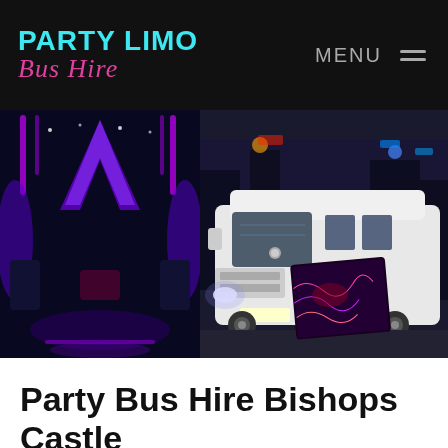PARTY LIMO Bus Hire | MENU
[Figure (photo): Composite photo showing the interior of a party limo bus with purple neon lighting on the left, a white Mercedes Sprinter party bus parked on a city street at night in the center-right, and a small overlapping thumbnail of colorful party bus interior at the bottom center.]
Party Bus Hire Bishops Castle